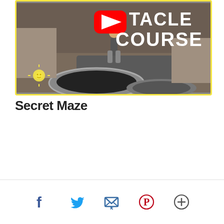[Figure (screenshot): YouTube video thumbnail showing a child jumping on a trampoline indoors with text 'OBSTACLE COURSE' and the YouTube play button logo overlaid. Yellow border around the image.]
Secret Maze
[Figure (other): Social sharing footer bar with icons: Facebook (f), Twitter (bird), Email (envelope), Pinterest (P), and More (+)]